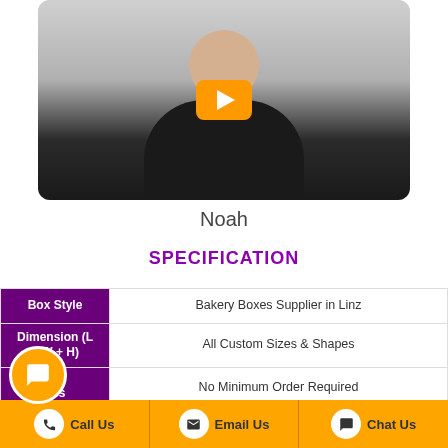[Figure (screenshot): Video thumbnail showing a man in a black shirt with an orange YouTube play button overlay]
Noah
SPECIFICATION
|  |  |
| --- | --- |
| Box Style | Bakery Boxes Supplier in Linz |
| Dimension (L + W + H) | All Custom Sizes & Shapes |
| Quantities | No Minimum Order Required |
| Paper Stock | 10pt to 28pt (60lb to 400lb) Eco-Friendly Kraft, E-flute Corrugated, Bux Board, Cardstock |
Call Us   Email Us   Chat Us